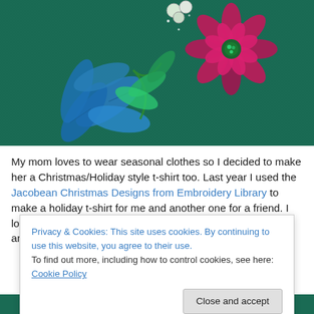[Figure (photo): Embroidery design on dark teal/green fabric showing a poinsettia flower in pink/magenta and holly leaves in blue and green with white berries]
My mom loves to wear seasonal clothes so I decided to make her a Christmas/Holiday style t-shirt too. Last year I used the Jacobean Christmas Designs from Embroidery Library to make a holiday t-shirt for me and another one for a friend. I love the designs in this set and chose one with a poinsettia and holly for my mom. Again it was a big
Privacy & Cookies: This site uses cookies. By continuing to use this website, you agree to their use.
To find out more, including how to control cookies, see here: Cookie Policy
Close and accept